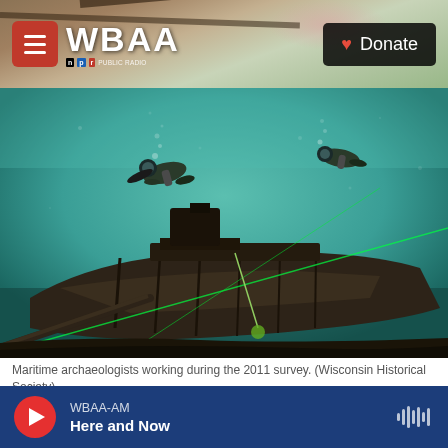WBAA | Donate
[Figure (photo): Underwater photo showing maritime archaeologists in scuba gear working on a submerged shipwreck during the 2011 survey, with green laser scanning lines visible in murky teal-green water]
Maritime archaeologists working during the 2011 survey. (Wisconsin Historical Society)
Lake Michigan will soon have its first national
WBAA-AM Here and Now